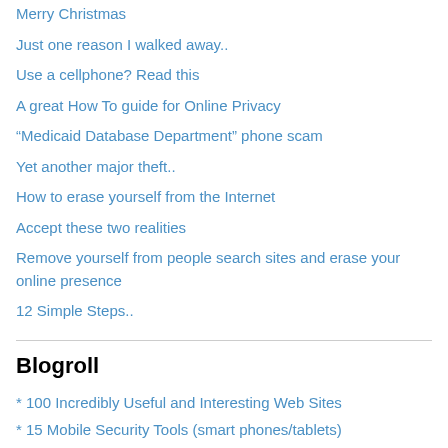Merry Christmas
Just one reason I walked away..
Use a cellphone? Read this
A great How To guide for Online Privacy
“Medicaid Database Department” phone scam
Yet another major theft..
How to erase yourself from the Internet
Accept these two realities
Remove yourself from people search sites and erase your online presence
12 Simple Steps..
Blogroll
* 100 Incredibly Useful and Interesting Web Sites
* 15 Mobile Security Tools (smart phones/tablets)
* AnandTech
* Best Antivirus 2018 (comparison)
* Best Free Antivirus 2018 (comparison)
* Best Free Software..